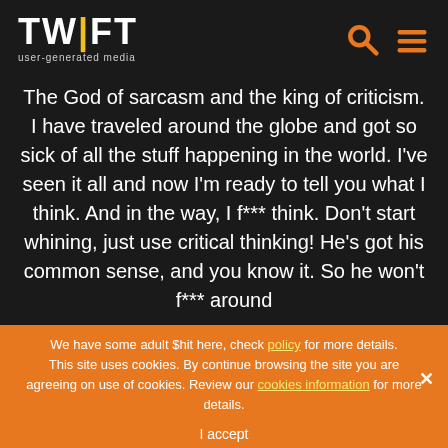TWIFT user-generated media
The God of sarcasm and the king of criticism. I have traveled around the globe and got so sick of all the stuff happening in the world. I've seen it all and now I'm ready to tell you what I think. And in the way, I f*** think. Don't start whining, just use critical thinking! He's got his common sense, and you know it. So he won't f*** around
We have some adult $hit here, check policy for more details. This site uses cookies. By continue browsing the site you are agreeing on use of cookies. Review our cookies information for more details.
I accept